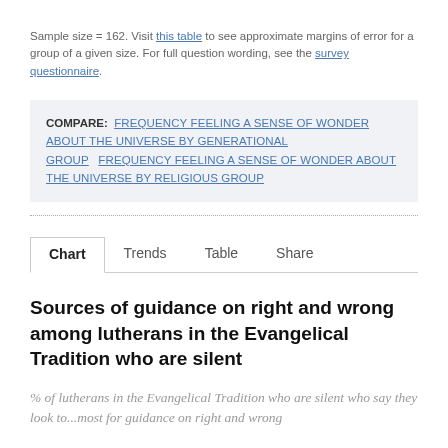Sample size = 162. Visit this table to see approximate margins of error for a group of a given size. For full question wording, see the survey questionnaire.
COMPARE: FREQUENCY FEELING A SENSE OF WONDER ABOUT THE UNIVERSE BY GENERATIONAL GROUP   FREQUENCY FEELING A SENSE OF WONDER ABOUT THE UNIVERSE BY RELIGIOUS GROUP
Chart   Trends   Table   Share
Sources of guidance on right and wrong among lutherans in the Evangelical Tradition who are silent
% of lutherans in the Evangelical Tradition who are silent who say they look to...most for guidance on right and wrong